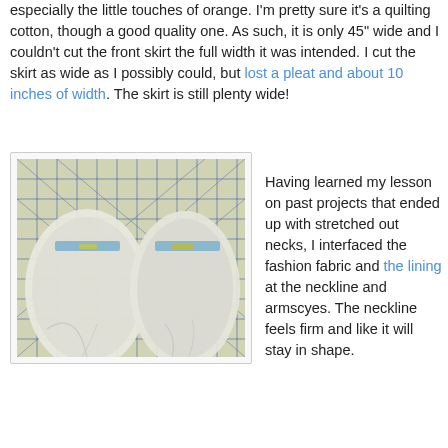especially the little touches of orange. I'm pretty sure it's a quilting cotton, though a good quality one. As such, it is only 45" wide and I couldn't cut the front skirt the full width it was intended. I cut the skirt as wide as I possibly could, but lost a pleat and about 10 inches of width. The skirt is still plenty wide!
[Figure (photo): Photo of white fabric pieces laid on a quilting cutting mat with grid lines, showing two fabric sections with blue ribbon or binding at the neckline area]
Having learned my lesson on past projects that ended up with stretched out necks, I interfaced the fashion fabric and the lining at the neckline and armscyes. The neckline feels firm and like it will stay in shape.